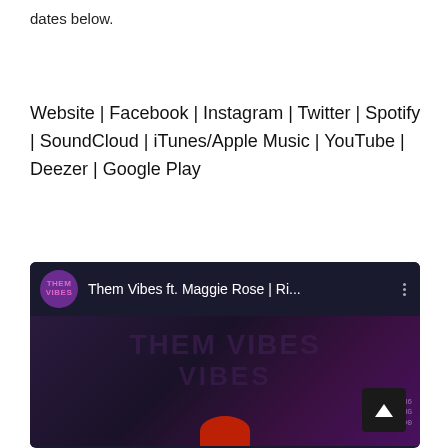dates below.
Website | Facebook | Instagram | Twitter | Spotify | SoundCloud | iTunes/Apple Music | YouTube | Deezer | Google Play
[Figure (screenshot): YouTube video thumbnail showing 'Them Vibes ft. Maggie Rose | Ri...' with channel icon, three-dot menu, and dark purple video thumbnail with stylized text overlay and a scroll-to-top button in the corner.]